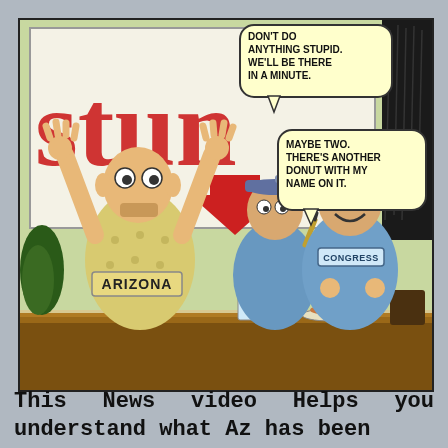[Figure (illustration): Political cartoon showing a man in an 'ARIZONA' shirt with hands raised, standing before a store window with partial red text, two police/Congress officers at a counter with donuts. Speech bubbles read: 'DON'T DO ANYTHING STUPID. WE'LL BE THERE IN A MINUTE.' and 'MAYBE TWO. THERE'S ANOTHER DONUT WITH MY NAME ON IT.' One officer labeled 'CONGRESS'.]
This News video Helps you understand what Az has been